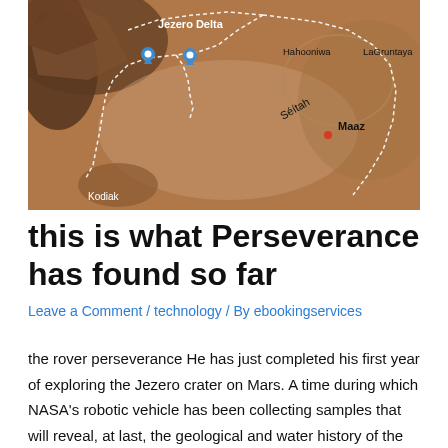[Figure (map): Aerial/satellite map view of Jezero Crater on Mars showing Perseverance rover's traversal path (white dotted line) with labeled locations: Jezero Delta (top left), Maaz (right center), Séítah (center), Kodiak (bottom left), Hahooniwa (top center), LaGruntaya (top right). Two blue location pins mark positions near Jezero Delta.]
this is what Perseverance has found so far
Leave a Comment / technology / By ebookingservices
the rover perseverance He has just completed his first year of exploring the Jezero crater on Mars. A time during which NASA's robotic vehicle has been collecting samples that will reveal, at last, the geological and water history of the red planet. Although it will still take a decade to find all the answers (until ...